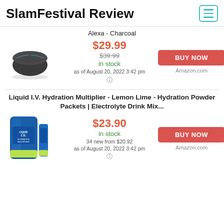SlamFestival Review
Alexa - Charcoal
[Figure (photo): Amazon Echo Dot (3rd gen) in charcoal color]
$29.99
$39.99
in stock
as of August 20, 2022 3:42 pm
BUY NOW
Amazon.com
Liquid I.V. Hydration Multiplier - Lemon Lime - Hydration Powder Packets | Electrolyte Drink Mix...
[Figure (photo): Liquid I.V. Hydration Multiplier Lemon Lime powder packets bag]
$23.90
in stock
34 new from $20.92
as of August 20, 2022 3:42 pm
BUY NOW
Amazon.com